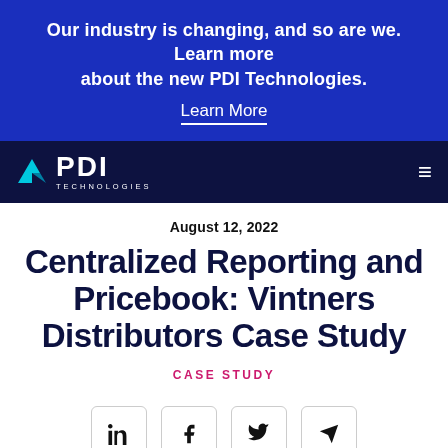Our industry is changing, and so are we. Learn more about the new PDI Technologies.
Learn More
[Figure (logo): PDI Technologies logo: cyan arrow icon with white PDI text and TECHNOLOGIES subtitle on dark navy background]
August 12, 2022
Centralized Reporting and Pricebook: Vintners Distributors Case Study
CASE STUDY
[Figure (other): Social share buttons row: LinkedIn, Facebook, Twitter, Send icons in rounded square boxes]